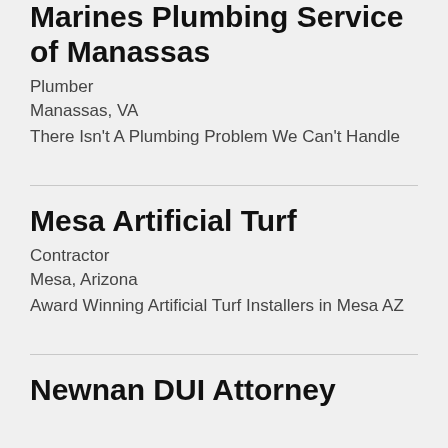Marines Plumbing Service of Manassas
Plumber
Manassas, VA
There Isn’t A Plumbing Problem We Can’t Handle
Mesa Artificial Turf
Contractor
Mesa, Arizona
Award Winning Artificial Turf Installers in Mesa AZ
Newnan DUI Attorney